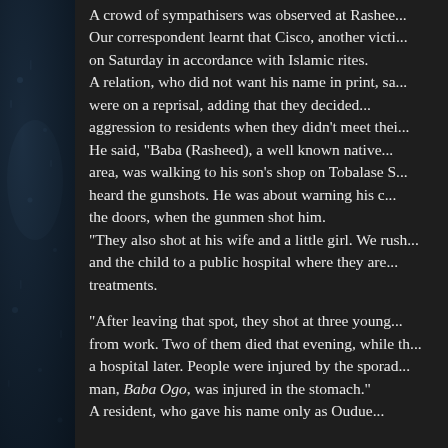[Figure (photo): Dark image panel on the left side showing a blurred figure/person in a dark blue-black environment with rain or water droplets visible]
A crowd of sympathisers was observed at Rashee... Our correspondent learnt that Cisco, another victi... on Saturday in accordance with Islamic rites. A relation, who did not want his name in print, sa... were on a reprisal, adding that they decided... aggression to residents when they didn't meet thei... He said, "Baba (Rasheed), a well known native... area, was walking to his son's shop on Tobalase S... heard the gunshots. He was about warning his c... the doors, when the gunmen shot him. "They also shot at his wife and a little girl. We rush... and the child to a public hospital where they are... treatments. "After leaving that spot, they shot at three young... from work. Two of them died that evening, while th... a hospital later. People were injured by the sporad... man, Baba Ogo, was injured in the stomach." A resident, who gave his name only as Oudue...